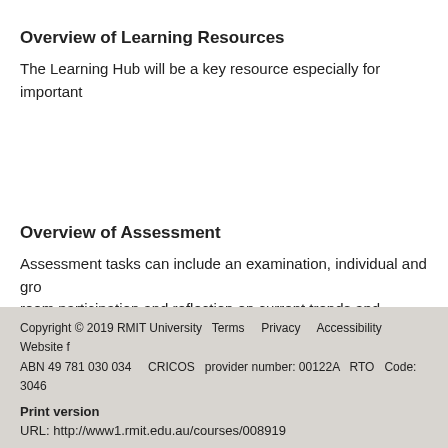Overview of Learning Resources
The Learning Hub will be a key resource especially for important
Overview of Assessment
Assessment tasks can include an examination, individual and gro room participation and reflection on current trends and literature.
Copyright © 2019 RMIT University   Terms   Privacy   Accessibility   Website f ABN 49 781 030 034   CRICOS  provider number: 00122A   RTO  Code: 3046
Print version
URL: http://www1.rmit.edu.au/courses/008919